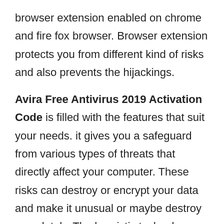browser extension enabled on chrome and fire fox browser. Browser extension protects you from different kind of risks and also prevents the hijackings.
Avira Free Antivirus 2019 Activation Code is filled with the features that suit your needs. it gives you a safeguard from various types of threats that directly affect your computer. These risks can destroy or encrypt your data and make it unusual or maybe destroy completely. The heuristic technology was available in the software that enables you to stops the attack that can be happened anytime. This technology protects you from the invasion of ransomware on your computer. You can also secure your USB devices. Avira Free Antivirus 2019 Crack protects your computer against harmful USB's. If the USB is affected by any threats. Avira Free Antivirus